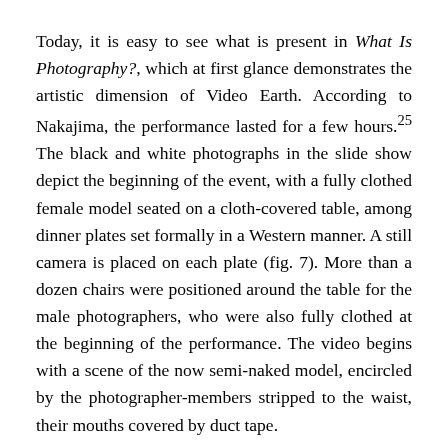Today, it is easy to see what is present in What Is Photography?, which at first glance demonstrates the artistic dimension of Video Earth. According to Nakajima, the performance lasted for a few hours.25 The black and white photographs in the slide show depict the beginning of the event, with a fully clothed female model seated on a cloth-covered table, among dinner plates set formally in a Western manner. A still camera is placed on each plate (fig. 7). More than a dozen chairs were positioned around the table for the male photographers, who were also fully clothed at the beginning of the performance. The video begins with a scene of the now semi-naked model, encircled by the photographer-members stripped to the waist, their mouths covered by duct tape.
In this form, he modeled his photography-slide show...